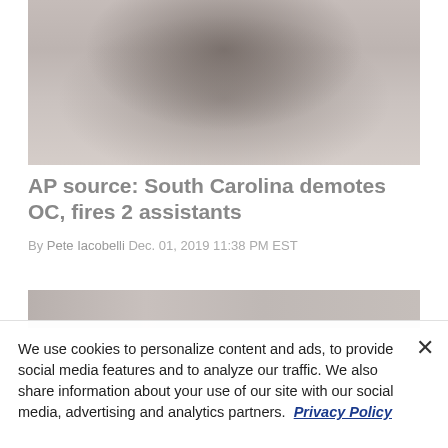[Figure (photo): A football coach wearing a black shirt with a headset and holding a play sheet, blurred crowd in background]
AP source: South Carolina demotes OC, fires 2 assistants
By Pete Iacobelli Dec. 01, 2019 11:38 PM EST
[Figure (photo): Partially visible second sports photo, heavily blurred]
We use cookies to personalize content and ads, to provide social media features and to analyze our traffic. We also share information about your use of our site with our social media, advertising and analytics partners. Privacy Policy